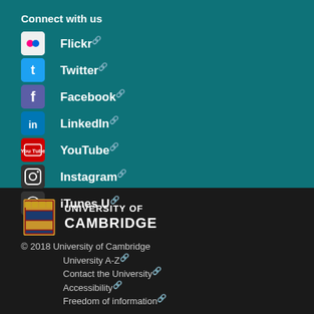Connect with us
Flickr
Twitter
Facebook
LinkedIn
YouTube
Instagram
iTunes U
[Figure (logo): University of Cambridge shield logo with UNIVERSITY OF CAMBRIDGE text]
© 2018 University of Cambridge
University A-Z
Contact the University
Accessibility
Freedom of information